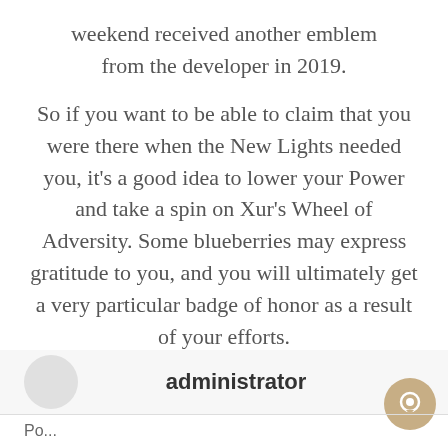weekend received another emblem from the developer in 2019.

So if you want to be able to claim that you were there when the New Lights needed you, it's a good idea to lower your Power and take a spin on Xur's Wheel of Adversity. Some blueberries may express gratitude to you, and you will ultimately get a very particular badge of honor as a result of your efforts.
administrator
Po...